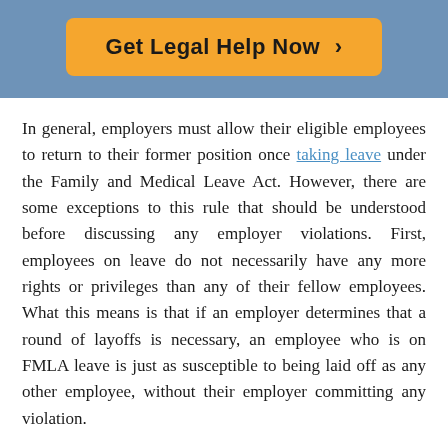[Figure (other): Blue header band containing an orange rounded button with text 'Get Legal Help Now ›']
In general, employers must allow their eligible employees to return to their former position once taking leave under the Family and Medical Leave Act. However, there are some exceptions to this rule that should be understood before discussing any employer violations. First, employees on leave do not necessarily have any more rights or privileges than any of their fellow employees. What this means is that if an employer determines that a round of layoffs is necessary, an employee who is on FMLA leave is just as susceptible to being laid off as any other employee, without their employer committing any violation.
Second, any employee who is earning one of the top ten percent salaries at the company does not have any